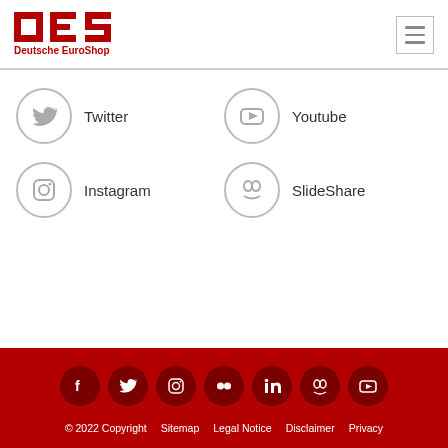[Figure (logo): Deutsche EuroShop logo with DES letters in red and tagline]
[Figure (infographic): Social media links: Twitter, Youtube, Instagram, SlideShare with circular icons]
Footer with social media icons (Facebook, Twitter, Instagram, Flickr, LinkedIn, SlideShare, Youtube) and links: © 2022 Copyright  Sitemap  Legal Notice  Disclaimer  Privacy